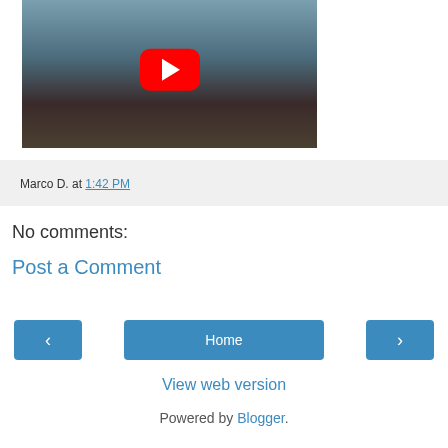[Figure (screenshot): YouTube video thumbnail showing a person in outdoor winter clothing with a YouTube play button overlay (red rectangle with white triangle). Background shows a snowy/cloudy landscape.]
Marco D. at 1:42 PM
No comments:
Post a Comment
< Home >
View web version
Powered by Blogger.